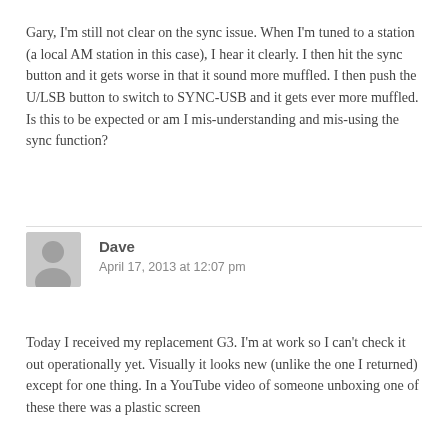Gary, I'm still not clear on the sync issue. When I'm tuned to a station (a local AM station in this case), I hear it clearly. I then hit the sync button and it gets worse in that it sound more muffled. I then push the U/LSB button to switch to SYNC-USB and it gets ever more muffled. Is this to be expected or am I mis-understanding and mis-using the sync function?
Dave
April 17, 2013 at 12:07 pm
Today I received my replacement G3. I'm at work so I can't check it out operationally yet. Visually it looks new (unlike the one I returned) except for one thing. In a YouTube video of someone unboxing one of these there was a plastic screen